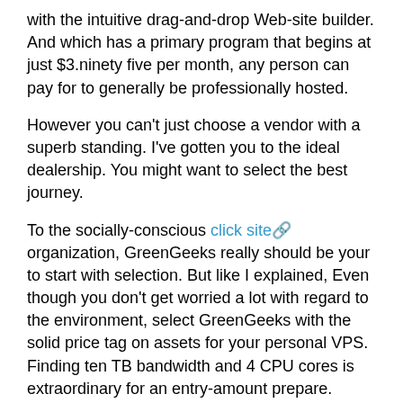with the intuitive drag-and-drop Web-site builder. And which has a primary program that begins at just $3.ninety five per month, any person can pay for to generally be professionally hosted.
However you can't just choose a vendor with a superb standing. I've gotten you to the ideal dealership. You might want to select the best journey.
To the socially-conscious click site organization, GreenGeeks really should be your to start with selection. But like I explained, Even though you don't get worried a lot with regard to the environment, select GreenGeeks with the solid price tag on assets for your personal VPS. Finding ten TB bandwidth and 4 CPU cores is extraordinary for an entry-amount prepare.
In case you have a whole new app, undertaking, or Web site that desires it's have dedicated list of server sources, Bluehost has you included.
And there's a great deal integrated With all the reduced price of VPS hosting. It's not as comprehensive a package as GreenGeeks by any suggests, but GoDaddy doesn't cut corners on the basics. A number of the characteristics